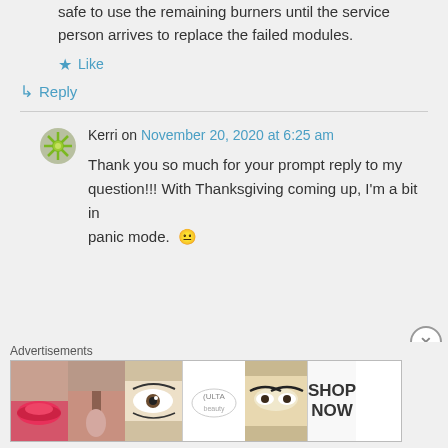safe to use the remaining burners until the service person arrives to replace the failed modules.
★ Like
↳ Reply
Kerri on November 20, 2020 at 6:25 am
Thank you so much for your prompt reply to my question!!! With Thanksgiving coming up, I'm a bit in panic mode. 😐
Advertisements
[Figure (photo): ULTA beauty advertisement banner with makeup images and SHOP NOW text]